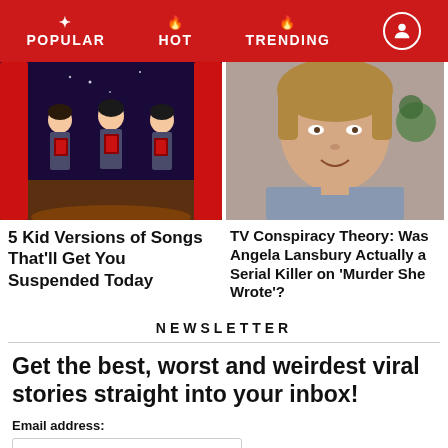POPULAR | HOT | TRENDING
[Figure (illustration): Three carol singers in matching dark uniforms holding red song books on a stage with red curtains]
[Figure (photo): Photo of Angela Lansbury smiling, wearing a patterned jacket]
5 Kid Versions of Songs That'll Get You Suspended Today
TV Conspiracy Theory: Was Angela Lansbury Actually a Serial Killer on 'Murder She Wrote'?
NEWSLETTER
Get the best, worst and weirdest viral stories straight into your inbox!
Email address:
Your email address